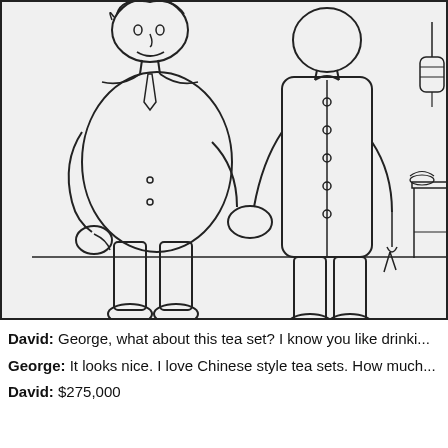[Figure (illustration): A cartoon line drawing showing two men shaking hands. On the left is a heavier-set man wearing a Western-style suit. On the right is a taller man wearing a Chinese-style traditional jacket with buttons down the front. In the background on the right side is a tea set on a table with a lantern hanging above.]
David: George, what about this tea set? I know you like drinki...
George: It looks nice. I love Chinese style tea sets. How much...
David: $275,000